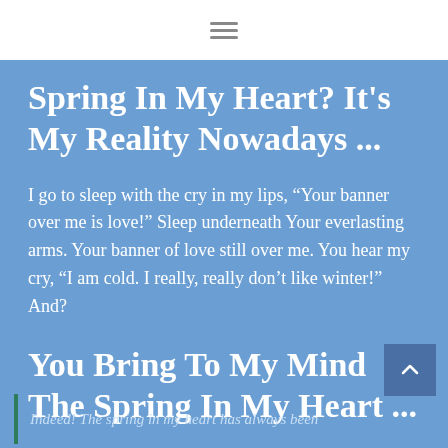Spring In My Heart? It's My Reality Nowadays ...
I go to sleep with the cry in my lips, “Your banner over me is love!” Sleep underneath Your everlasting arms. Your banner of love still over me. You hear my cry, “I am cold. I really, really don’t like winter!” And?
You Bring To My Mind The Spring In My Heart ...
Indeed! The spring in my heart has always been